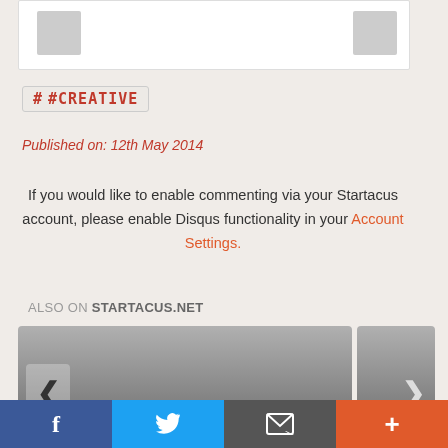[Figure (photo): White card with two gray placeholder images on left and right]
# #CREATIVE
Published on: 12th May 2014
If you would like to enable commenting via your Startacus account, please enable Disqus functionality in your Account Settings.
ALSO ON STARTACUS.NET
[Figure (screenshot): Carousel cards showing 'MindMate - the brain health app...' with 4 years ago • 1 comment, and a partially visible right card with 'Co... lau... m...']
Facebook | Twitter | Email | Plus